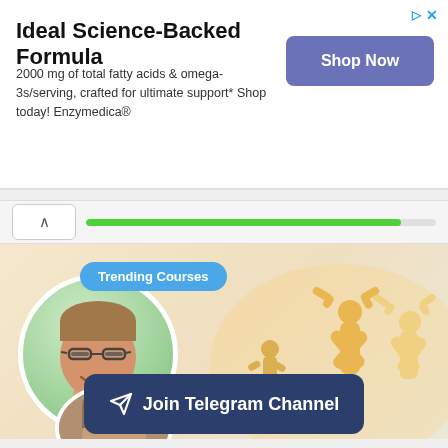Ideal Science-Backed Formula
2000 mg of total fatty acids & omega-3s/serving, crafted for ultimate support* Shop today! Enzymedica®
[Figure (screenshot): Trending Courses section with avatar circles and celebratory silhouette figures in an orange-tinted background]
Trending Courses
Join Telegram Channel